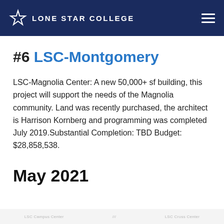Lone Star College
#6 LSC-Montgomery
LSC-Magnolia Center: A new 50,000+ sf building, this project will support the needs of the Magnolia community. Land was recently purchased, the architect is Harrison Kornberg and programming was completed July 2019.Substantial Completion: TBD Budget: $28,858,538.
May 2021